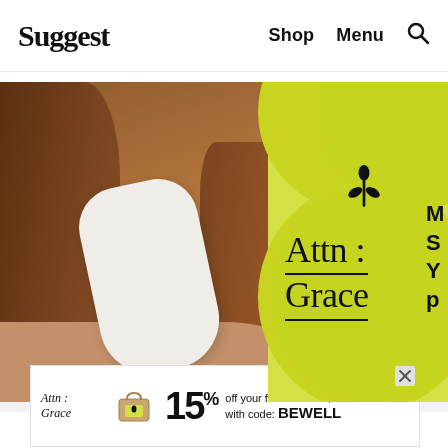Suggest   Shop   Menu   🔍
[Figure (photo): Hero image showing a person holding a menstrual pad against a yellow background with large circles. The brand name 'Attn: Grace' appears in serif text over a yellow circle. A leaf/drop icon is shown above the text.]
[Figure (infographic): Advertisement banner for Attn: Grace showing a shopping bag icon, 15% off your first order of $45+ with code: BEWELL, with an X close button.]